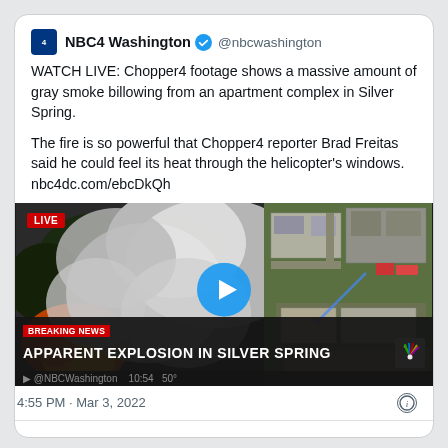NBC4 Washington @nbcwashington
WATCH LIVE: Chopper4 footage shows a massive amount of gray smoke billowing from an apartment complex in Silver Spring.

The fire is so powerful that Chopper4 reporter Brad Freitas said he could feel its heat through the helicopter's windows. nbc4dc.com/ebcDkQh
[Figure (screenshot): Live news video thumbnail showing aerial footage of a large fire with gray smoke billowing from an apartment complex in Silver Spring. A LIVE badge is shown in the top left. A play button is centered. A breaking news banner reads 'APPARENT EXPLOSION IN SILVER SPRING' with the NBC peacock logo. Bottom bar shows '@NBCWashington 10:54 50°'.]
4:55 PM · Mar 3, 2022